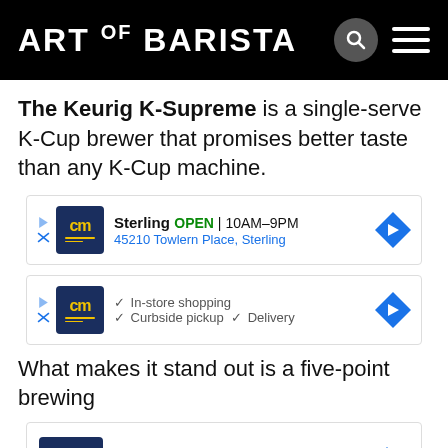ART OF BARISTA
The Keurig K-Supreme is a single-serve K-Cup brewer that promises better taste than any K-Cup machine.
[Figure (other): Advertisement card: cm logo, Sterling OPEN | 10AM-9PM, 45210 Towlern Place, Sterling, with navigation arrow icon]
[Figure (other): Advertisement card: cm logo, In-store shopping, Curbside pickup, Delivery, with navigation arrow icon]
What makes it stand out is a five-point brewing
[Figure (other): Advertisement card (larger): cm logo, Sterling OPEN | 10AM-9PM, 45210 Towlern Place, Sterling, with navigation arrow icon, partially cut off]